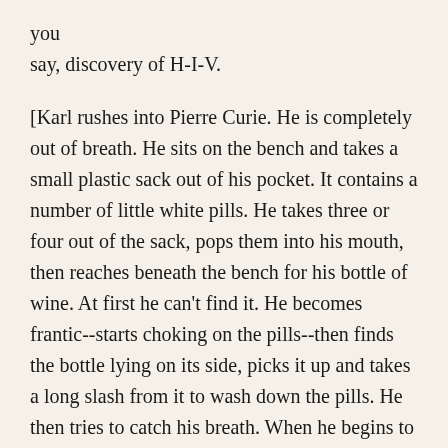you
say, discovery of H-I-V.
[Karl rushes into Pierre Curie. He is completely out of breath. He sits on the bench and takes a small plastic sack out of his pocket. It contains a number of little white pills. He takes three or four out of the sack, pops them into his mouth, then reaches beneath the bench for his bottle of wine. At first he can't find it. He becomes frantic--starts choking on the pills--then finds the bottle lying on its side, picks it up and takes a long slash from it to wash down the pills. He then tries to catch his breath. When he begins to speak it is with the slow precision of someone who is already really wired. He stands up and moves around--he is still a total sketch-ball, but the pills seem to have eliminated his